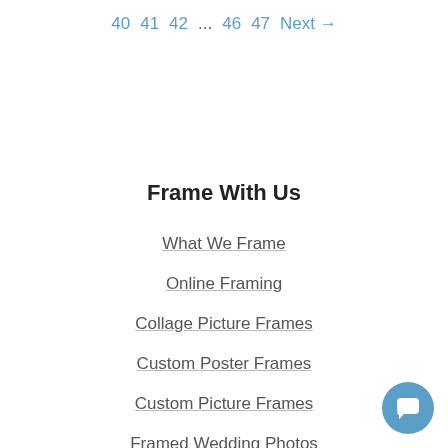40  41  42  ...  46  47  Next →
Frame With Us
What We Frame
Online Framing
Collage Picture Frames
Custom Poster Frames
Custom Picture Frames
Framed Wedding Photos
[Figure (other): Chat support button — circular blue button with a white chat bubble icon in the bottom-right corner]